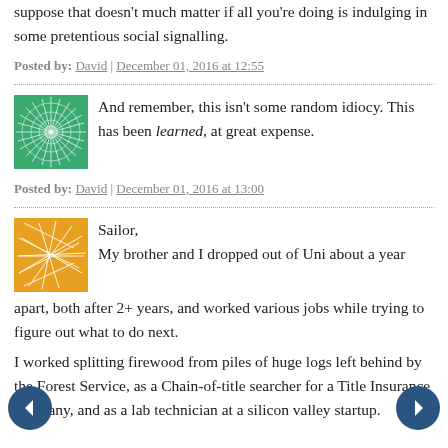suppose that doesn't much matter if all you're doing is indulging in some pretentious social signalling.
Posted by: David | December 01, 2016 at 12:55
And remember, this isn't some random idiocy. This has been learned, at great expense.
Posted by: David | December 01, 2016 at 13:00
Sailor,
My brother and I dropped out of Uni about a year apart, both after 2+ years, and worked various jobs while trying to figure out what to do next.
I worked splitting firewood from piles of huge logs left behind by the Forest Service, as a Chain-of-title searcher for a Title Insurance company, and as a lab technician at a silicon valley startup.